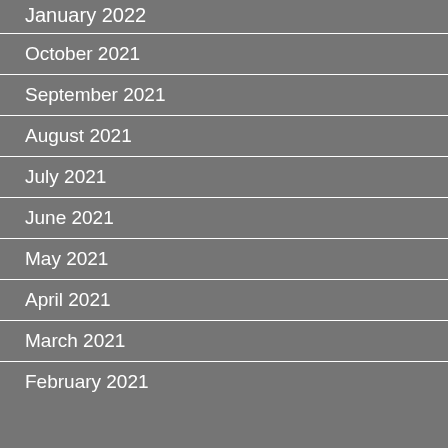January 2022
October 2021
September 2021
August 2021
July 2021
June 2021
May 2021
April 2021
March 2021
February 2021